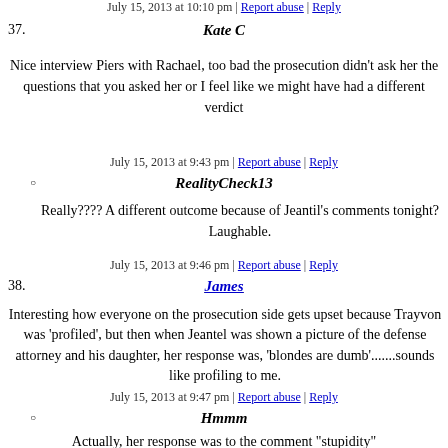July 15, 2013 at 10:10 pm | Report abuse | Reply
37. Kate C
Nice interview Piers with Rachael, too bad the prosecution didn't ask her the questions that you asked her or I feel like we might have had a different verdict
July 15, 2013 at 9:43 pm | Report abuse | Reply
RealityCheck13
Really???? A different outcome because of Jeantil's comments tonight? Laughable.
July 15, 2013 at 9:46 pm | Report abuse | Reply
38. James
Interesting how everyone on the prosecution side gets upset because Trayvon was 'profiled', but then when Jeantel was shown a picture of the defense attorney and his daughter, her response was, 'blondes are dumb'.......sounds like profiling to me.
July 15, 2013 at 9:47 pm | Report abuse | Reply
Hmmm
Actually, her response was to the comment "stupidity"